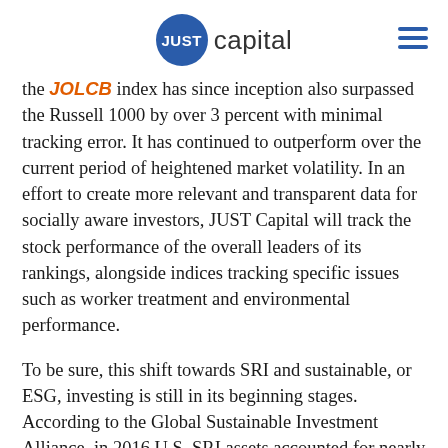JUST capital
the JOLCB index has since inception also surpassed the Russell 1000 by over 3 percent with minimal tracking error. It has continued to outperform over the current period of heightened market volatility. In an effort to create more relevant and transparent data for socially aware investors, JUST Capital will track the stock performance of the overall leaders of its rankings, alongside indices tracking specific issues such as worker treatment and environmental performance.
To be sure, this shift towards SRI and sustainable, or ESG, investing is still in its beginning stages. According to the Global Sustainable Investment Alliance, in 2016 U.S. SRI assets accounted for nearly $9 trillion, or 22 percent of U.S. assets under